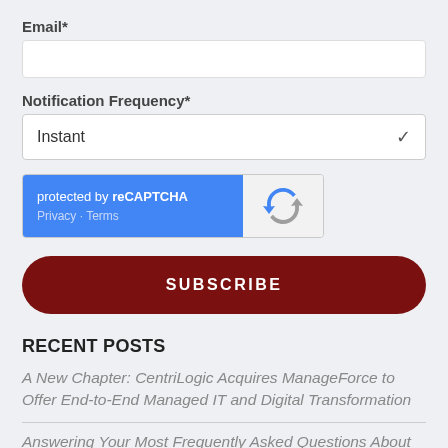Email*
[Figure (other): Email input field, empty white rectangle]
Notification Frequency*
[Figure (other): Dropdown select field showing 'Instant' with chevron]
[Figure (other): reCAPTCHA widget: blue left panel with 'protected by reCAPTCHA' and 'Privacy - Terms', grey right panel with reCAPTCHA logo]
SUBSCRIBE
RECENT POSTS
A New Chapter: CentriLogic Acquires ManageForce to Offer End-to-End Managed IT and Digital Transformation
Answering Your Most Frequently Asked Questions About